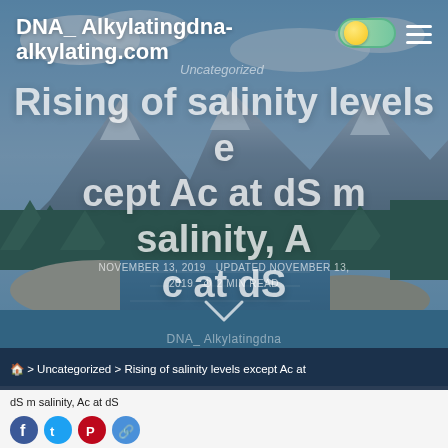[Figure (screenshot): Website screenshot of DNA_Alkylatingdna-alkylating.com showing a hero section with a mountain lake landscape background, site header with toggle and hamburger menu, overlaid title text about rising salinity levels, metadata date lines, breadcrumb navigation bar, and white footer section with social icons.]
DNA_ Alkylatingdna-alkylating.com
Uncategorized
Rising of salinity levels except Ac at dS m salinity, Ac at dS
NOVEMBER 13, 2019  UPDATED NOVEMBER 13, 2019  ⏱ 2 MIN READ
DNA_ Alkylatingdna
🏠 > Uncategorized > Rising of salinity levels except Ac at
dS m salinity, Ac at dS